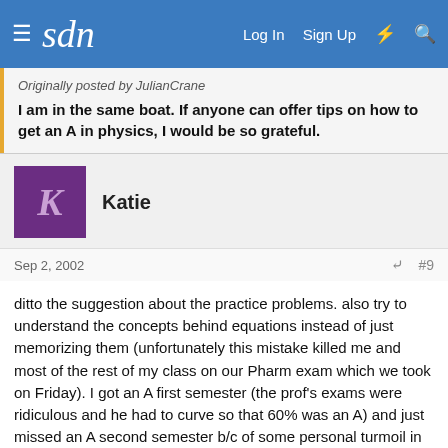sdn — Log In  Sign Up
Originally posted by JulianCrane
I am in the same boat. If anyone can offer tips on how to get an A in physics, I would be so grateful.
Katie
Sep 2, 2002  #9
ditto the suggestion about the practice problems. also try to understand the concepts behind equations instead of just memorizing them (unfortunately this mistake killed me and most of the rest of my class on our Pharm exam which we took on Friday). I got an A first semester (the prof's exams were ridiculous and he had to curve so that 60% was an A) and just missed an A second semester b/c of some personal turmoil in my life. no HS physics whatsoever. good luck!